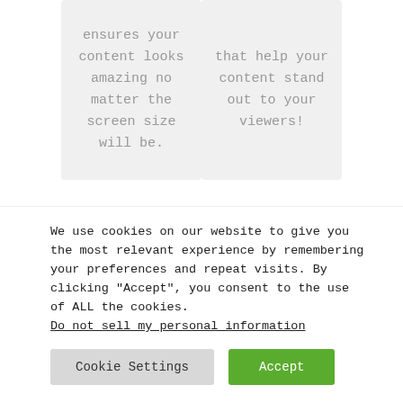ensures your content looks amazing no matter the screen size will be.
that help your content stand out to your viewers!
We use cookies on our website to give you the most relevant experience by remembering your preferences and repeat visits. By clicking "Accept", you consent to the use of ALL the cookies. Do not sell my personal information
Cookie Settings
Accept